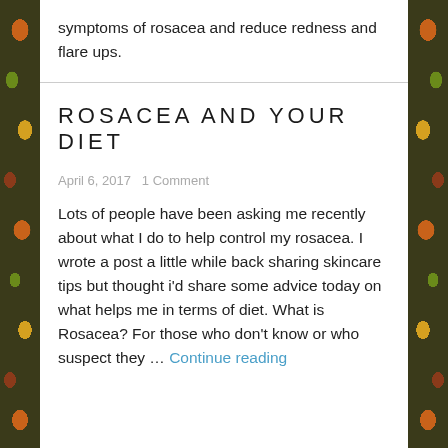symptoms of rosacea and reduce redness and flare ups.
ROSACEA AND YOUR DIET
April 6, 2017   1 Comment
Lots of people have been asking me recently about what I do to help control my rosacea.  I wrote a post a little while back sharing skincare tips but thought i'd share some advice today on what helps me in terms of diet. What is Rosacea? For those who don't know or who suspect they … Continue reading